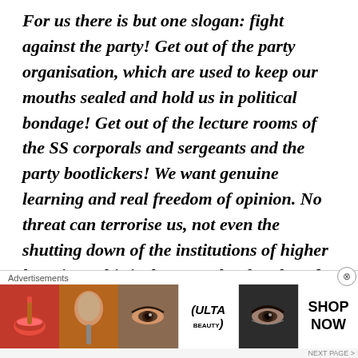For us there is but one slogan: fight against the party! Get out of the party organisation, which are used to keep our mouths sealed and hold us in political bondage! Get out of the lecture rooms of the SS corporals and sergeants and the party bootlickers! We want genuine learning and real freedom of opinion. No threat can terrorise us, not even the shutting down of the institutions of higher learning. This is the struggle of each and every one of us for our future, our freedom, and our honour under a regime conscious of its moral responsibility.

Freedom and honour! For ten long years Hitler and his
[Figure (other): Advertisement banner: Advertisements label above, showing cosmetics/beauty ad with lipstick, makeup brush, eye closeups, ULTA logo, and SHOP NOW text. Close button (X) visible.]